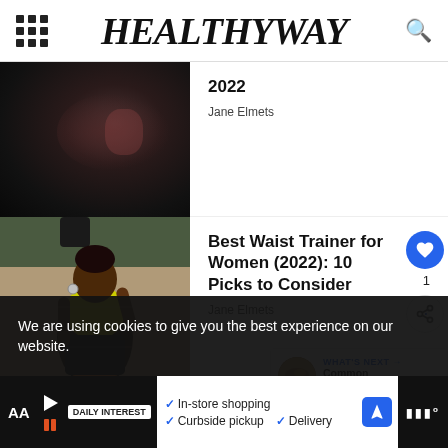HEALTHYWAY
[Figure (photo): Close-up photo of dark black braided/wavy hair with red/brown highlights]
2022
Jane Elmets
[Figure (photo): Photo of a Black woman wearing a yellow top and black waist trainer, posing outdoors against a wall, holding her hair up]
Best Waist Trainer for Women (2022): 10 Picks to Consider
Jane Elmets
WHAT'S NEXT → Common Skincare...
We are using cookies to give you the best experience on our website.
In-store shopping   Curbside pickup   Delivery